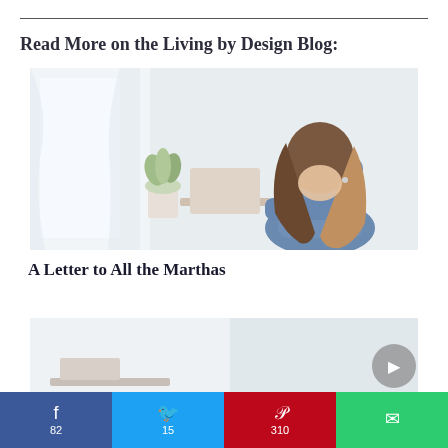Read More on the Living by Design Blog:
[Figure (photo): Woman sitting at a desk, head resting on her arms, appearing stressed or overwhelmed. Plant and laptop visible in background.]
A Letter to All the Marthas
[Figure (photo): Bright, airy room scene, partially visible.]
Share buttons: Facebook 82, Twitter 15, Pinterest 310, Email